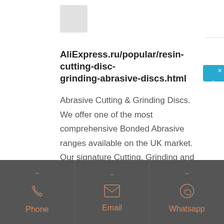[Figure (photo): Product image placeholder at top of page, partially visible, gray/muted tones]
AliExpress.ru/popular/resin-cutting-disc-grinding-abrasive-discs.html
Abrasive Cutting & Grinding Discs. We offer one of the most comprehensive Bonded Abrasive ranges available on the UK market. Our signature Cutting, Grinding and Extra Thin Discs are available in a range of quality levels and sizes for use on a multitude of material applications.
[Figure (infographic): Blue side panel with Chinese characters: 在线咨询 (online consultation) with X close button]
Phone
Email
Whatsapp